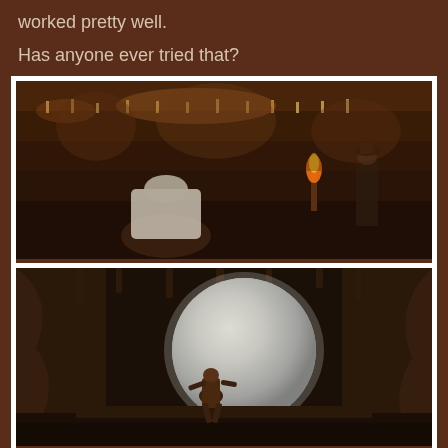worked pretty well.
Has anyone ever tried that?
[Figure (photo): Scene from Indiana Jones and the Last Crusade: a robed knight kneeling with a sword, and Indiana Jones standing in a torch-lit ornate chamber]
[Figure (photo): Scene from Raiders of the Lost Ark: Indiana Jones running from a large boulder rolling through a cave tunnel]